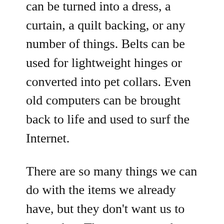can be turned into a dress, a curtain, a quilt backing, or any number of things. Belts can be used for lightweight hinges or converted into pet collars. Even old computers can be brought back to life and used to surf the Internet.
There are so many things we can do with the items we already have, but they don't want us to know that. They want us to buy everything we need and toss that old stuff instead.
It's reached the point where I honestly wonder if the Minimalism movement has been hijacked by the corporations. Think about it: if we reduce our possessions to the bare minimum by discarding or donating our excess, what will